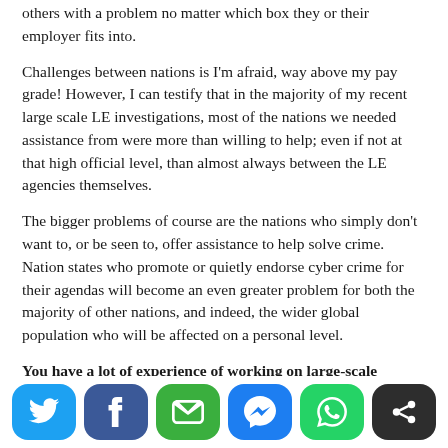others with a problem no matter which box they or their employer fits into.
Challenges between nations is I'm afraid, way above my pay grade! However, I can testify that in the majority of my recent large scale LE investigations, most of the nations we needed assistance from were more than willing to help; even if not at that high official level, than almost always between the LE agencies themselves.
The bigger problems of course are the nations who simply don't want to, or be seen to, offer assistance to help solve crime. Nation states who promote or quietly endorse cyber crime for their agendas will become an even greater problem for both the majority of other nations, and indeed, the wider global population who will be affected on a personal level.
You have a lot of experience of working on large-scale investigations; what are some of the specific challenges
[Figure (infographic): Social media sharing buttons: Twitter (blue), Facebook (dark blue), Email (green), Messenger (blue), WhatsApp (green), Share (dark/black)]